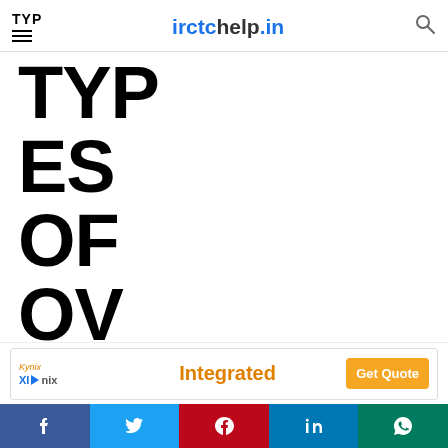irctchelp.in
TYPES OF OVERCHARGING
[Figure (screenshot): Advertisement banner for Kynix / Xidynix Integrated with Get Quote button]
[Figure (infographic): Social media share bar with Facebook, Twitter, Pinterest, LinkedIn, WhatsApp icons]